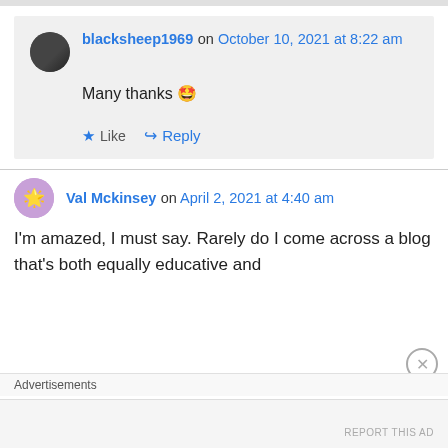blacksheep1969 on October 10, 2021 at 8:22 am
Many thanks 🤩
★ Like
↪ Reply
Val Mckinsey on April 2, 2021 at 4:40 am
I'm amazed, I must say. Rarely do I come across a blog that's both equally educative and
Advertisements